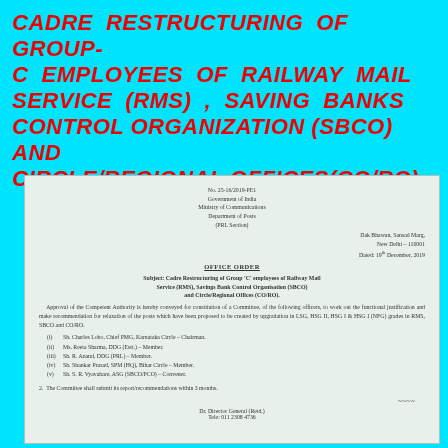CADRE RESTRUCTURING OF GROUP-C EMPLOYEES OF RAILWAY MAIL SERVICE (RMS) , SAVING BANKS CONTROL ORGANIZATION (SBCO) AND CIRCLE/REGIONAL OFFICES(CO/RO)
[Figure (photo): Scanned government office order document from Government of India, Ministry of Communications, Department of Posts (PRL Section), dated 19th December, 2019. The document is an Office Order regarding Cadre Restructuring of Group 'C' employees of Railway Mail Service (RMS), Savings Bank Control Organisation (SBCO) and Circle/Regional Offices (CO/RO), constituting a committee of officers. Signed by Dr. Director General (Retd.), Tele: 011 2308 4736.]